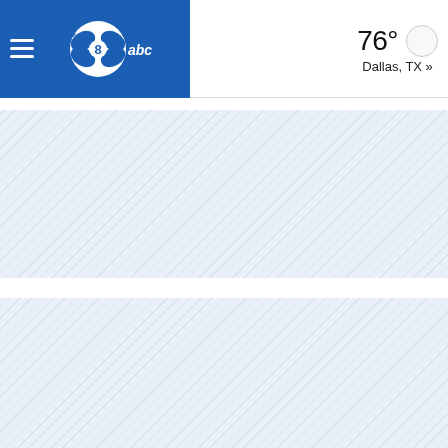WFAA abc — 76° Dallas, TX »
[Figure (screenshot): WFAA ABC 8 news website header with navigation hamburger menu on left, WFAA-ABC logo in blue banner, and weather display showing 76° Dallas, TX on right. Below header are diagonal striped placeholder/loading content areas.]